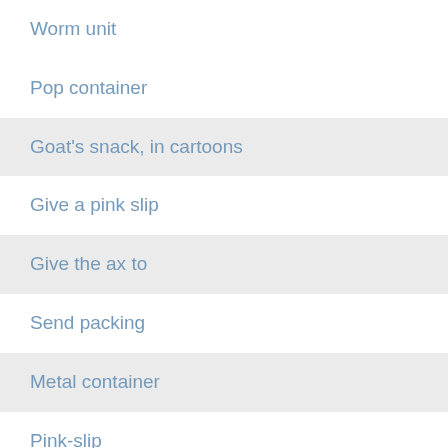Worm unit
Pop container
Goat's snack, in cartoons
Give a pink slip
Give the ax to
Send packing
Metal container
Pink-slip
Is able
Preserve